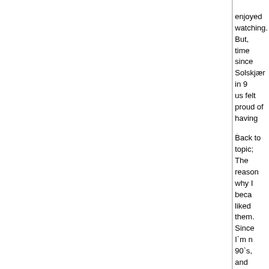enjoyed watching. But, time since Solskjær in 9 us felt proud of having
Back to topic;
The reason why I beca liked them. Since I`m n 90`s, and therefore its a
-RBK
Back to top
surge
Junior

Joined: 25 May 2005
Posts: 3
Location: Cheshire, England
Posted: 26.05.2005 17:3

Harald, your knowledge heard of Seth Johnson Crewe are not a very fa home gate) for the leag (1 goal) so I think unless

Yes Dario Gradi has be is time for him to move

I like Riise he has score